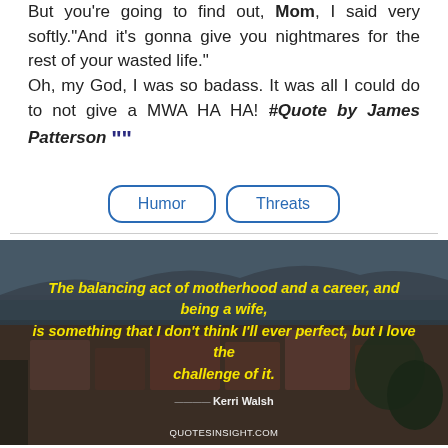But you're going to find out, Mom, I said very softly."And it's gonna give you nightmares for the rest of your wasted life." Oh, my God, I was so badass. It was all I could do to not give a MWA HA HA! #Quote by James Patterson ””
Humor
Threats
[Figure (photo): Aerial/elevated view of a coastal city with mountains and water in background, overlaid with a yellow italic quote text. Quote reads: 'The balancing act of motherhood and a career, and being a wife, is something that I don't think I'll ever perfect, but I love the challenge of it.' Attribution: Kerri Walsh. Footer: QUOTESINSIGHT.COM]